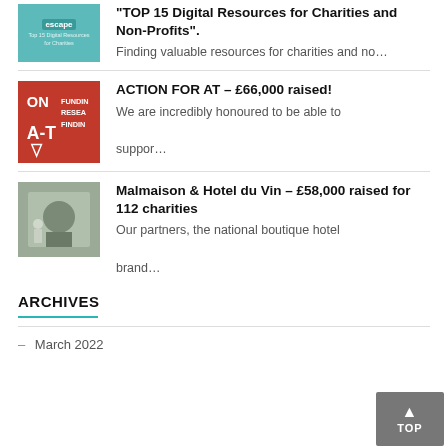[Figure (illustration): Thumbnail image for a blog post about digital resources for charities, teal/green colored with text overlay]
"TOP 15 Digital Resources for Charities and Non-Profits".
Finding valuable resources for charities and no…
[Figure (logo): Action for AT logo: red background with ON A-T text and FUNDING RESEARCH FINDING text]
ACTION FOR AT – £66,000 raised!
We are incredibly honoured to be able to suppor…
[Figure (photo): Photo of Malmaison hotel exterior with person standing in front]
Malmaison & Hotel du Vin – £58,000 raised for 112 charities
Our partners, the national boutique hotel brand…
ARCHIVES
– March 2022